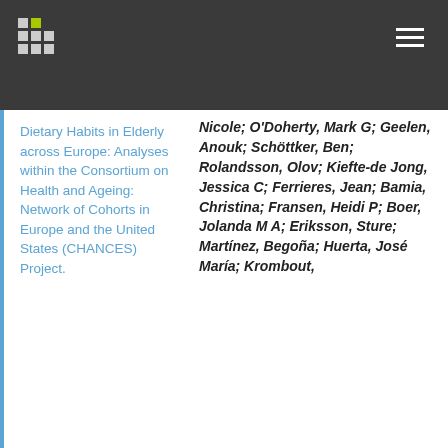Dietary Habits in Elderly across Europe: Analyses within the Consortium on Health and Ageing: Network of Cohorts in Europe and the United States (CHANCES) Project.
Nicole; O'Doherty, Mark G; Geelen, Anouk; Schöttker, Ben; Rolandsson, Olov; Kiefte-de Jong, Jessica C; Ferrieres, Jean; Bamia, Christina; Fransen, Heidi P; Boer, Jolanda M A; Eriksson, Sture; Martínez, Begoña; Huerta, José María; Krombout,